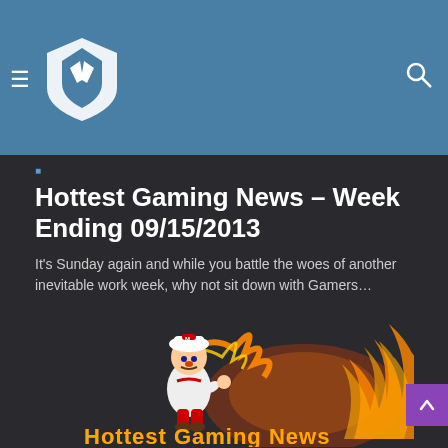Gamers (logo) hamburger menu and search icon header
Hottest Gaming News – Week Ending 09/15/2013
It's Sunday again and while you battle the woes of another inevitable work week, why not sit down with Gamers…
Read More »
[Figure (illustration): Mario character in white outfit with fire swirl, with stylized 'Hottest Gaming News' text in orange flame letters below]